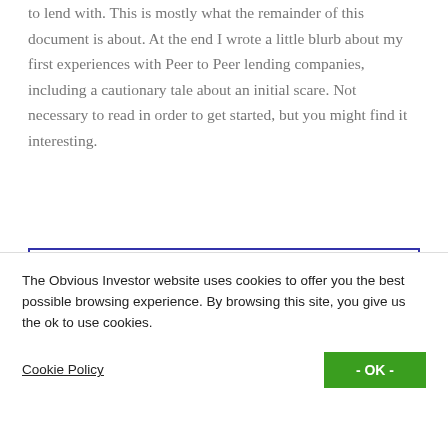to lend with. This is mostly what the remainder of this document is about. At the end I wrote a little blurb about my first experiences with Peer to Peer lending companies, including a cautionary tale about an initial scare. Not necessary to read in order to get started, but you might find it interesting.
Table Of Contents
The Obvious Investor website uses cookies to offer you the best possible browsing experience. By browsing this site, you give us the ok to use cookies.
Cookie Policy
- OK -